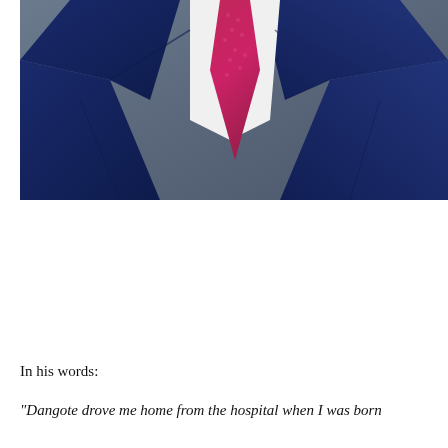[Figure (photo): A man in a dark navy suit with a pink/magenta tie, torso and lower face visible, professional photo against a grey background.]
In his words:
“Dangote drove me home from the hospital when I was born